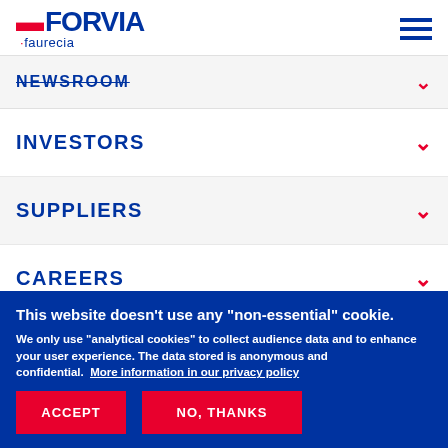FORVIA faurecia — navigation header with hamburger menu
NEWSROOM
INVESTORS
SUPPLIERS
CAREERS
This website doesn't use any "non-essential" cookie. We only use "analytical cookies" to collect audience data and to enhance your user experience. The data stored is anonymous and confidential.  More information in our privacy policy
ACCEPT
NO, THANKS